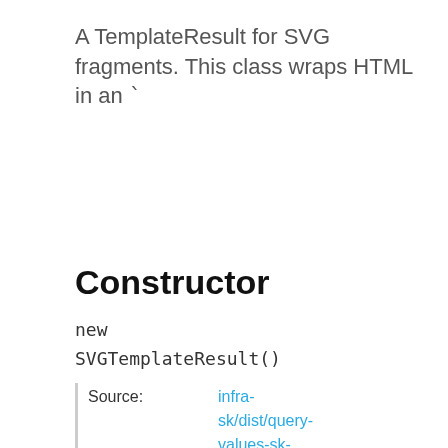A TemplateResult for SVG fragments. This class wraps HTML in an `
Constructor
new SVGTemplateResult()
| Source: |  |
| --- | --- |
| Source: | infra-sk/dist/query-values-sk- |